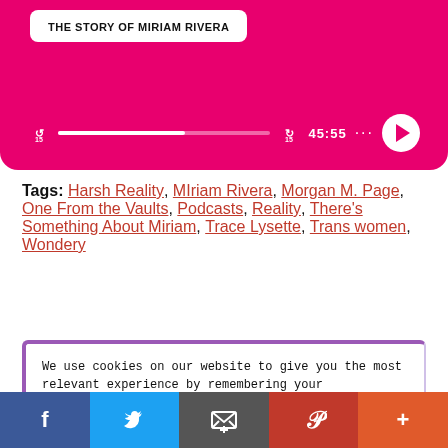[Figure (screenshot): Podcast player widget with hot pink background, showing title 'THE STORY OF MIRIAM RIVERA', progress bar, time 45:55, and play button.]
Tags: Harsh Reality, MIriam Rivera, Morgan M. Page, One From the Vaults, Podcasts, Reality, There's Something About Miriam, Trace Lysette, Trans women, Wondery
We use cookies on our website to give you the most relevant experience by remembering your preferences and repeat visits. By clicking "Accept", you consent to the use of ALL the cookies.
Do not sell my personal information
Cookie settings | Accept
[Figure (screenshot): Social sharing bar at bottom with Facebook, Twitter, Email, Pinterest, and More buttons.]